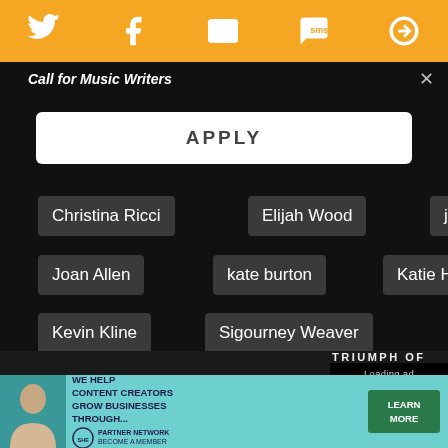[Figure (screenshot): Orange top navigation bar with social media icons: Twitter bird, Facebook f, envelope/email, SMS speech bubble, and a circular icon]
Call for Music Writers
APPLY
Christina Ricci
Elijah Wood
jamey sheridan
Joan Allen
kate burton
Katie Holmes
Kevin Kline
Sigourney Weaver
The Ice Storm
tobey maguire
[Figure (screenshot): Video player panel showing 'Loading ad' text with a spinner and playback controls (pause, fullscreen, mute)]
[Figure (screenshot): Bottom advertisement banner: teal/green background with woman photo, 'WE HELP CONTENT CREATORS GROW BUSINESSES THROUGH...' text, SHE Partner Network logo, and LEARN MORE button]